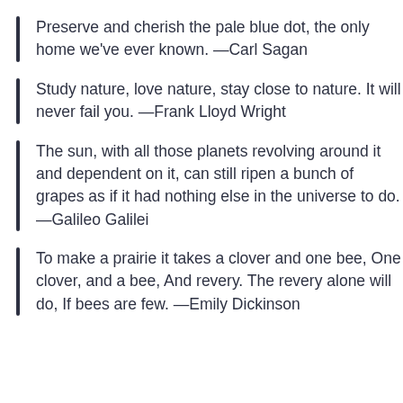Preserve and cherish the pale blue dot, the only home we've ever known. —Carl Sagan
Study nature, love nature, stay close to nature. It will never fail you. —Frank Lloyd Wright
The sun, with all those planets revolving around it and dependent on it, can still ripen a bunch of grapes as if it had nothing else in the universe to do. —Galileo Galilei
To make a prairie it takes a clover and one bee, One clover, and a bee, And revery. The revery alone will do, If bees are few. —Emily Dickinson